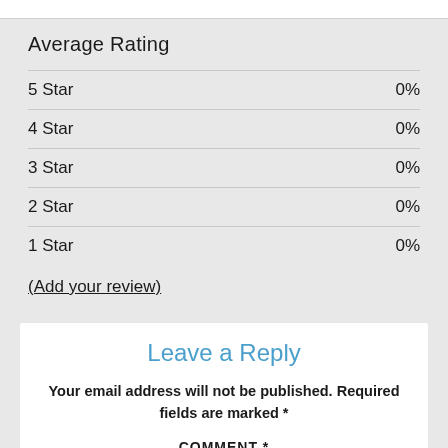Average Rating
5 Star  0%
4 Star  0%
3 Star  0%
2 Star  0%
1 Star  0%
(Add your review)
Leave a Reply
Your email address will not be published. Required fields are marked *
COMMENT *